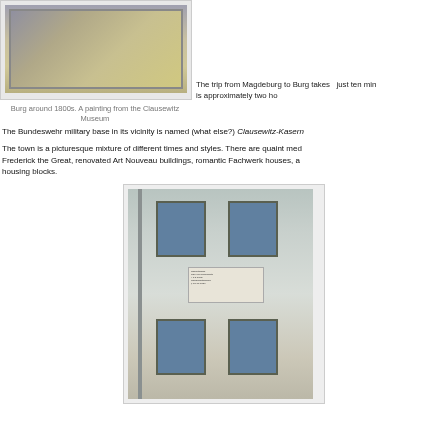[Figure (photo): Painting of Burg around 1800s showing a street scene with figures, buildings and a cobblestone road]
Burg around 1800s. A painting from the Clausewitz Museum
The trip from Magdeburg to Burg takes just ten minutes is approximately two ho...
The Bundeswehr military base in its vicinity is named (what else?) Clausewitz-Kasern...
The town is a picturesque mixture of different times and styles. There are quaint medieval buildings from the time of Frederick the Great, renovated Art Nouveau buildings, romantic Fachwerk houses, and housing blocks.
[Figure (photo): Photograph of a building exterior with windows and a commemorative plaque, likely Clausewitz birthplace in Burg]